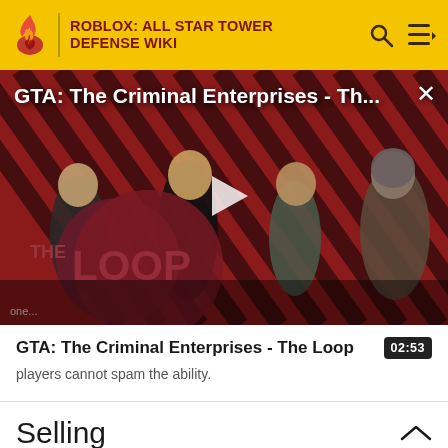ROBLOX: ALL STAR TOWER DEFENSE WIKI
[Figure (screenshot): Video thumbnail for 'GTA: The Criminal Enterprises - The Loop' showing game characters on a red diagonal striped background with a play button overlay and 'THE LOOP' logo]
GTA: The Criminal Enterprises - The Loop
02:53
players cannot spam the ability.
Selling